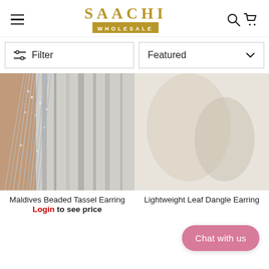SAACHI WHOLESALE
Filter
Featured
[Figure (photo): Close-up photo of a beaded tassel earring with silver/grey strands against a grey and white patterned fabric background]
Maldives Beaded Tassel Earring
Login to see price
[Figure (photo): Partially visible product image for Lightweight Leaf Dangle Earring]
Lightweight Leaf Dangle Earring
Chat with us